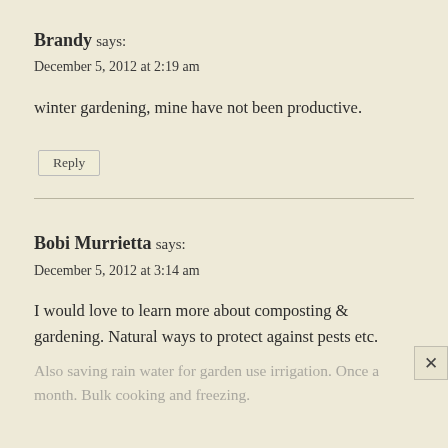Brandy says:
December 5, 2012 at 2:19 am
winter gardening, mine have not been productive.
Reply
Bobi Murrietta says:
December 5, 2012 at 3:14 am
I would love to learn more about composting & gardening. Natural ways to protect against pests etc.
Also saving rain water for garden use irrigation. Once a month. Bulk cooking and freezing.